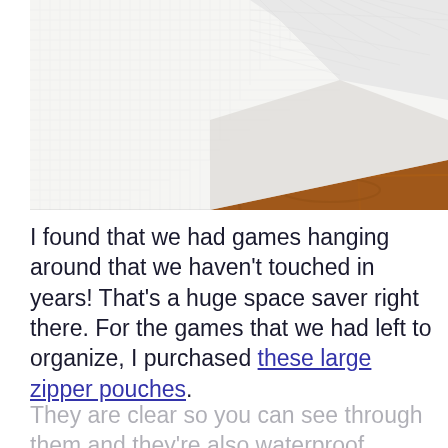[Figure (photo): Close-up photo of white mesh/grid fabric (aida cloth or similar) with a folded corner, placed on a warm brown wooden surface]
I found that we had games hanging around that we haven't touched in years! That's a huge space saver right there. For the games that we had left to organize, I purchased these large zipper pouches.
They are clear so you can see through them and they're also waterproof. They'll be